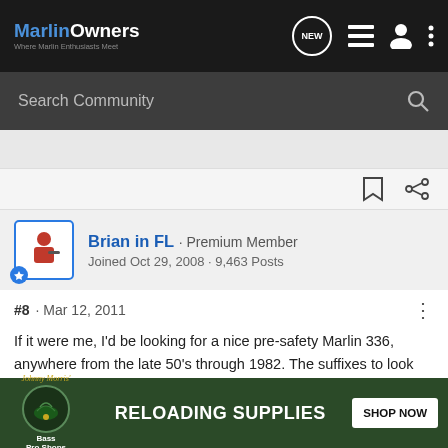MarlinOwners — Where Marlin Enthusiasts Meet
Search Community
Brian in FL · Premium Member
Joined Oct 29, 2008 · 9,463 Posts
#8 · Mar 12, 2011
If it were me, I'd be looking for a nice pre-safety Marlin 336, anywhere from the late 50's through 1982. The suffixes to look for are 336C and 336RC (regular carbine) in the standard 20" barrel models. If you can find one that's a 336SC (sporting carbine) with a 20" barrel, they have a round barrel and a 2/3 length magazine tube. If you can find a barrel band of
[Figure (screenshot): Bass Pro Shops advertisement banner: RELOADING SUPPLIES with SHOP NOW button]